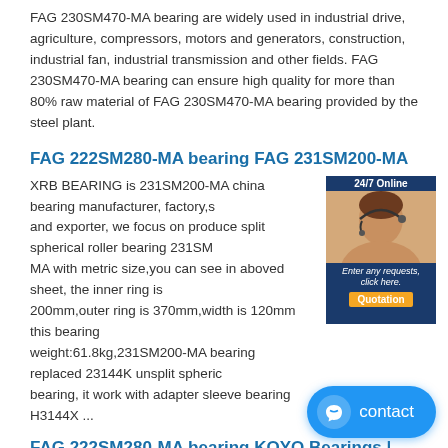FAG 230SM470-MA bearing are widely used in industrial drive, agriculture, compressors, motors and generators, construction, industrial fan, industrial transmission and other fields. FAG 230SM470-MA bearing can ensure high quality for more than 80% raw material of FAG 230SM470-MA bearing provided by the steel plant.
FAG 222SM280-MA bearing FAG 231SM200-MA
XRB BEARING is 231SM200-MA china bearing manufacturer, factory,s and exporter, we focus on produce split spherical roller bearing 231SM MA with metric size,you can see in aboved sheet, the inner ring is 200mm,outer ring is 370mm,width is 120mm this bearing weight:61.8kg,231SM200-MA bearing replaced 23144K unsplit spheric bearing, it work with adapter sleeve bearing H3144X ...
[Figure (photo): Chat widget showing a female customer service agent with headset, '24/7 Online' header, tagline 'Enter any requests, click here.' and orange 'Quotation' button on dark blue background.]
FAG 222SM280-MA bearing KOYO Bearings | 3318 Bearing | Serbia Vojvodina & Dominica
KOYO Bearings | 3318 Bearing | Serbia Vojvodina & Dominica • NSK 75BTR10H Bearings • FAG SD560-N-FZ-BL-L 222SM280-MA Bearings • FAG B71900-E-2RSD-T-P4S Bearings • FAG B7213C.T.P4S.UL Bearings • NSK HJ219E Bearings • NACHI NUP306 Bearings • NTN 71914C/DT Bearings
[Figure (other): Blue rounded rectangle 'contact' button with chat icon at bottom right of page.]